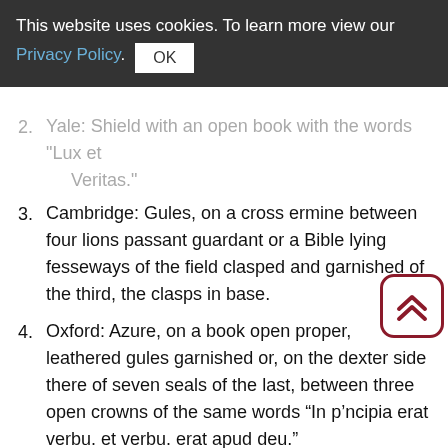This website uses cookies. To learn more view our Privacy Policy. OK
2. Yale: Shield with an open book with the words "Lux et Veritas."
3. Cambridge: Gules, on a cross ermine between four lions passant guardant or a Bible lying fesseways of the field clasped and garnished of the third, the clasps in base.
4. Oxford: Azure, on a book open proper, leathered gules garnished or, on the dexter side there of seven seals of the last, between three open crowns of the same words “In p’ncipia erat verbu. et verbu. erat apud deu.”
5. Bryn Mawr: The shield shows a castle made up of two connected gothic towers.  Bryn Mawr reports that they used a shield with one gothic tower, representing their